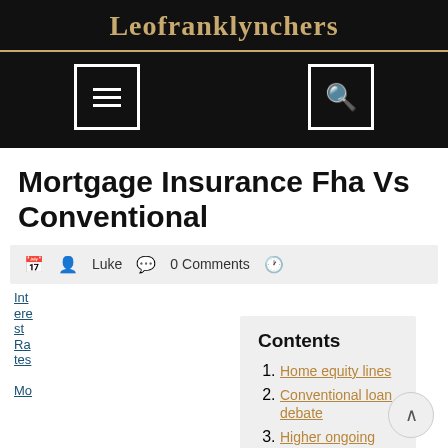Leofranklynchers
Mortgage Insurance Fha Vs Conventional
Luke  0 Comments
Contents
Home equity lines
Conventional loan debate
Higher ongoing mortgage insurance premiums
Mortgage insurance: mortgage insurance bought
Interest Rates Mo